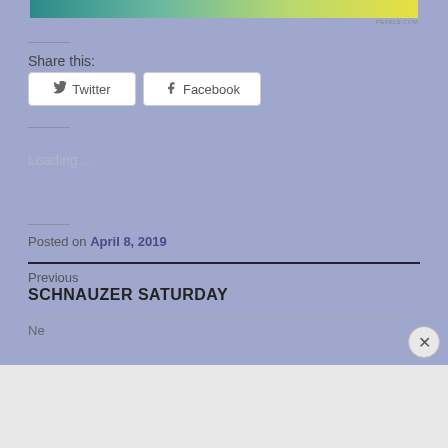[Figure (illustration): Colorful gradient image strip at top in teal, green, yellow colors]
Share this:
Twitter
Facebook
Loading…
Posted on April 8, 2019
Previous
SCHNAUZER SATURDAY
Advertisements
[Figure (screenshot): Longreads advertisement banner with text 'Read anything great lately?']